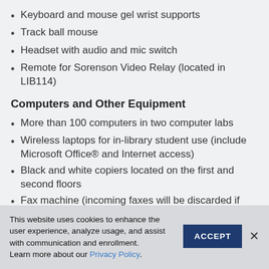Keyboard and mouse gel wrist supports
Track ball mouse
Headset with audio and mic switch
Remote for Sorenson Video Relay (located in LIB114)
Computers and Other Equipment
More than 100 computers in two computer labs
Wireless laptops for in-library student use (include Microsoft Office® and Internet access)
Black and white copiers located on the first and second floors
Fax machine (incoming faxes will be discarded if
This website uses cookies to enhance the user experience, analyze usage, and assist with communication and enrollment.
Learn more about our Privacy Policy.